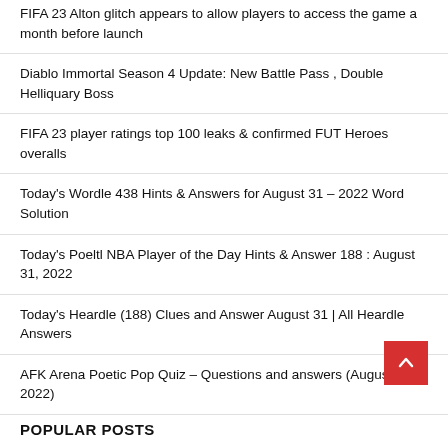FIFA 23 Alton glitch appears to allow players to access the game a month before launch
Diablo Immortal Season 4 Update: New Battle Pass , Double Helliquary Boss
FIFA 23 player ratings top 100 leaks & confirmed FUT Heroes overalls
Today's Wordle 438 Hints & Answers for August 31 – 2022 Word Solution
Today's Poeltl NBA Player of the Day Hints & Answer 188 : August 31, 2022
Today's Heardle (188) Clues and Answer August 31 | All Heardle Answers
AFK Arena Poetic Pop Quiz – Questions and answers (August 2022)
POPULAR POSTS